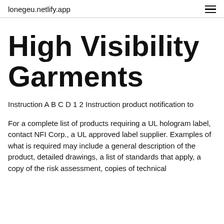lonegeu.netlify.app
High Visibility Garments
Instruction A B C D 1 2 Instruction product notification to
For a complete list of products requiring a UL hologram label, contact NFI Corp., a UL approved label supplier. Examples of what is required may include a general description of the product, detailed drawings, a list of standards that apply, a copy of the risk assessment, copies of technical